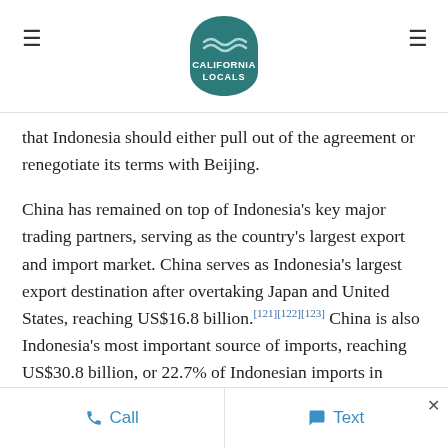California Locals logo with hamburger menu icons
that Indonesia should either pull out of the agreement or renegotiate its terms with Beijing.
China has remained on top of Indonesia's key major trading partners, serving as the country's largest export and import market. China serves as Indonesia's largest export destination after overtaking Japan and United States, reaching US$16.8 billion.[121][122][123] China is also Indonesia's most important source of imports, reaching US$30.8 billion, or 22.7% of Indonesian imports in 2016.[124] The balance however was in favour of China as Indonesia booked a trade deficit of US$14 billion in 2016.[125]
Call   Text